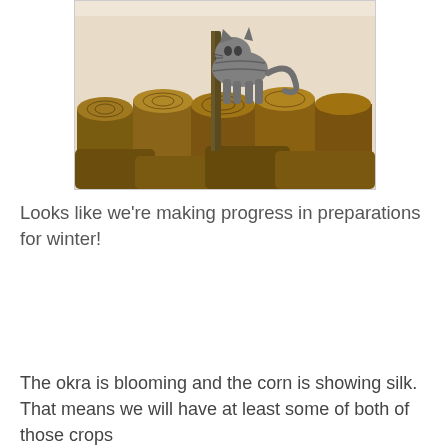[Figure (photo): A tabby cat standing on a pile of cut firewood logs, partially cropped at top]
Looks like we're making progress in preparations for winter!
The okra is blooming and the corn is showing silk.  That means we will have at least some of both of those crops